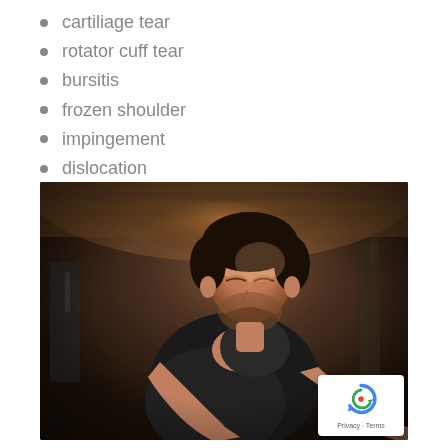cartiliage tear
rotator cuff tear
bursitis
frozen shoulder
impingement
dislocation
[Figure (photo): Man in a dark gym setting holding his shoulder in pain, wearing a black t-shirt, with a blurred background of gym equipment]